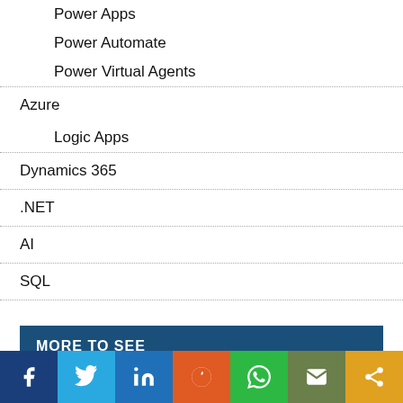Power Apps
Power Automate
Power Virtual Agents
Azure
Logic Apps
Dynamics 365
.NET
AI
SQL
MORE TO SEE
Social share bar: Facebook, Twitter, LinkedIn, Reddit, WhatsApp, Email, Share